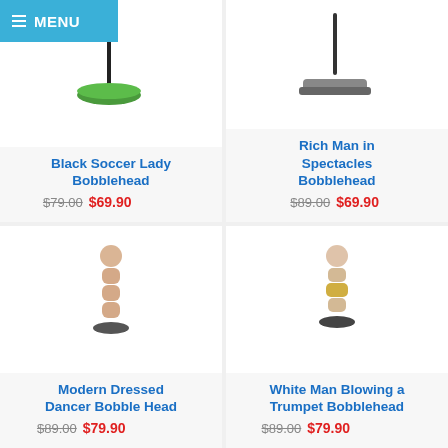MENU
[Figure (photo): Black Soccer Lady Bobblehead product photo showing green base]
Black Soccer Lady Bobblehead
$79.00 $69.90
[Figure (photo): Rich Man in Spectacles Bobblehead product photo showing grey base]
Rich Man in Spectacles Bobblehead
$89.00 $69.90
[Figure (photo): Modern Dressed Dancer Bobble Head product photo]
Modern Dressed Dancer Bobble Head
$89.00 $79.90
[Figure (photo): White Man Blowing a Trumpet Bobblehead product photo]
White Man Blowing a Trumpet Bobblehead
$89.00 $79.90